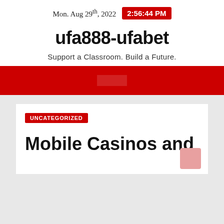Mon. Aug 29th, 2022  2:56:44 PM
ufa888-ufabet
Support a Classroom. Build a Future.
[Figure (other): Red navigation bar with search input in the center]
UNCATEGORIZED
Mobile Casinos and